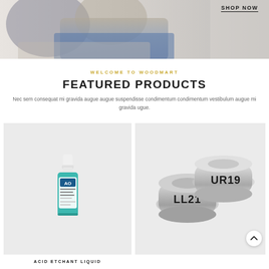[Figure (photo): Hero banner photo showing a person sitting on a couch, partially visible (torso and legs in jeans), with a 'SHOP NOW' text link at top right with an underline.]
WELCOME TO WOODMART
FEATURED PRODUCTS
Nec sem consequat mi gravida augue augue suspendisse condimentum condimentum vestibulum augue mi gravida ugue.
[Figure (photo): Product image of an Acid Etchant Liquid bottle — small dropper bottle with teal/green liquid, labeled AO Ammonium Gel Etchant.]
ACID ETCHANT LIQUID
[Figure (photo): Product image of two silver metal orthodontic dental bands labeled LL21 and UR19.]